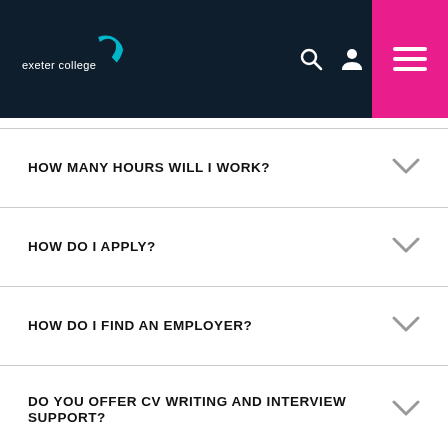exeter college
HOW MANY HOURS WILL I WORK?
HOW DO I APPLY?
HOW DO I FIND AN EMPLOYER?
DO YOU OFFER CV WRITING AND INTERVIEW SUPPORT?